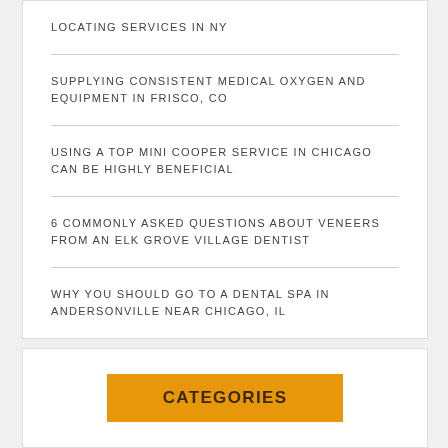LOCATING SERVICES IN NY
SUPPLYING CONSISTENT MEDICAL OXYGEN AND EQUIPMENT IN FRISCO, CO
USING A TOP MINI COOPER SERVICE IN CHICAGO CAN BE HIGHLY BENEFICIAL
6 COMMONLY ASKED QUESTIONS ABOUT VENEERS FROM AN ELK GROVE VILLAGE DENTIST
WHY YOU SHOULD GO TO A DENTAL SPA IN ANDERSONVILLE NEAR CHICAGO, IL
CATEGORIES